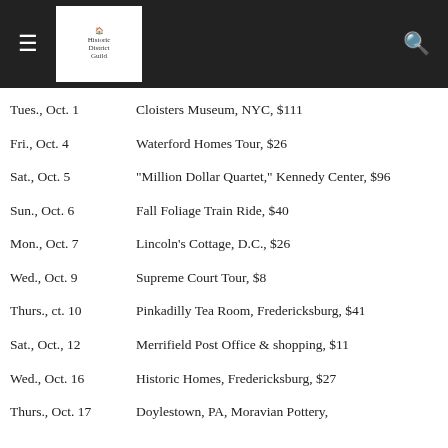≡ [logo] 🔍
Tues., Oct. 1 — Cloisters Museum, NYC, $111
Fri., Oct. 4 — Waterford Homes Tour, $26
Sat., Oct. 5 — "Million Dollar Quartet," Kennedy Center, $96
Sun., Oct. 6 — Fall Foliage Train Ride, $40
Mon., Oct. 7 — Lincoln's Cottage, D.C., $26
Wed., Oct. 9 — Supreme Court Tour, $8
Thurs., ct. 10 — Pinkadilly Tea Room, Fredericksburg, $41
Sat., Oct., 12 — Merrifield Post Office & shopping, $11
Wed., Oct. 16 — Historic Homes, Fredericksburg, $27
Thurs., Oct. 17 — Doylestown, PA, Moravian Pottery,